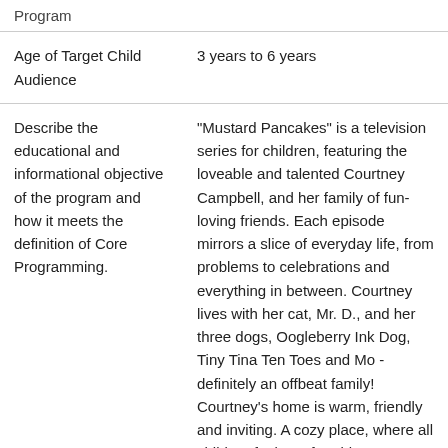|  |  |
| --- | --- |
| Program |  |
| Age of Target Child Audience | 3 years to 6 years |
| Describe the educational and informational objective of the program and how it meets the definition of Core Programming. | "Mustard Pancakes" is a television series for children, featuring the loveable and talented Courtney Campbell, and her family of fun-loving friends. Each episode mirrors a slice of everyday life, from problems to celebrations and everything in between. Courtney lives with her cat, Mr. D., and her three dogs, Oogleberry Ink Dog, Tiny Tina Ten Toes and Mo - definitely an offbeat family! Courtney's home is warm, friendly and inviting. A cozy place, where all children feel comfortable... |